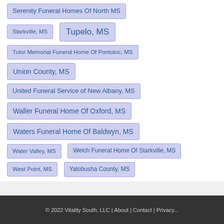Serenity Funeral Homes Of North MS
Starkville, MS
Tupelo, MS
Tutor Memorial Funeral Home Of Pontotoc, MS
Union County, MS
United Funeral Service of New Albany, MS
Waller Funeral Home Of Oxford, MS
Waters Funeral Home Of Baldwyn, MS
Water Valley, MS
Welch Funeral Home Of Starkville, MS
West Point, MS
Yalobusha County, MS
© 2022 Vitality South, LLC | About | Contact | Privacy...